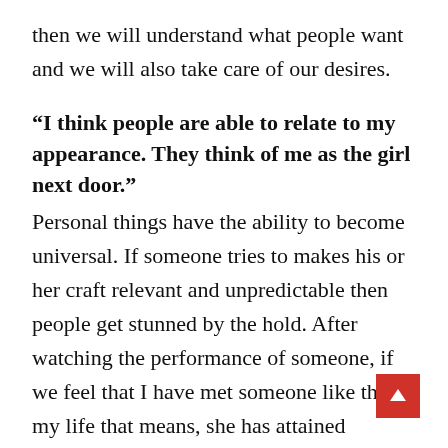then we will understand what people want and we will also take care of our desires.
“I think people are able to relate to my appearance. They think of me as the girl next door.”
Personal things have the ability to become universal. If someone tries to makes his or her craft relevant and unpredictable then people get stunned by the hold. After watching the performance of someone, if we feel that I have met someone like this in my life that means, she has attained everything and has succeeded in portraying the character as per the demand.